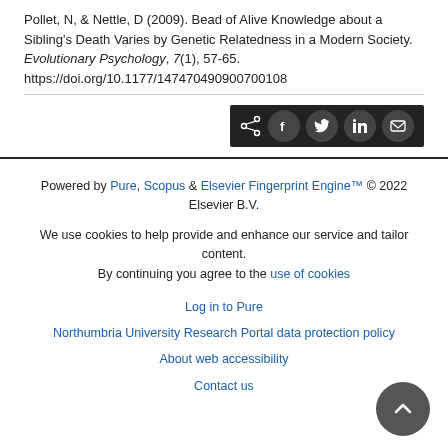Pollet, N, & Nettle, D (2009). Bead of Alive Knowledge about a Sibling's Death Varies by Genetic Relatedness in a Modern Society. Evolutionary Psychology, 7(1), 57-65. https://doi.org/10.1177/147470490900700108
[Figure (other): Share toolbar with share icon, Facebook, Twitter, LinkedIn, and email buttons on dark background]
Powered by Pure, Scopus & Elsevier Fingerprint Engine™ © 2022 Elsevier B.V.
We use cookies to help provide and enhance our service and tailor content. By continuing you agree to the use of cookies
Log in to Pure
Northumbria University Research Portal data protection policy
About web accessibility
Contact us